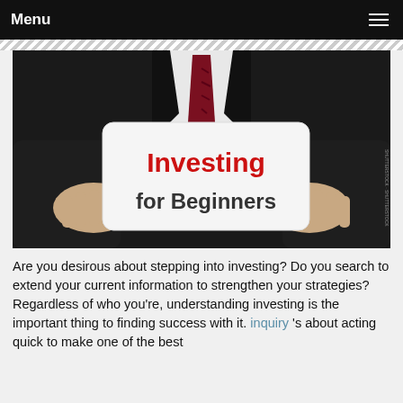Menu
[Figure (photo): A businessman in a dark suit and red tie holding a white card/sign that reads 'Investing for Beginners' in bold text — 'Investing' in red and 'for Beginners' in dark gray.]
Are you desirous about stepping into investing? Do you search to extend your current information to strengthen your strategies? Regardless of who you're, understanding investing is the important thing to finding success with it. inquiry 's about acting quick to make one of the best